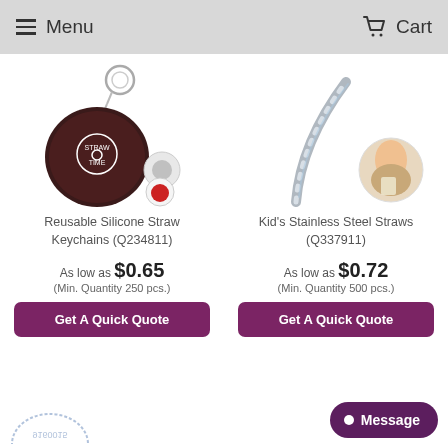Menu  Cart
[Figure (photo): Reusable Silicone Straw Keychain product photo showing a round dark case with keyring and color variants]
Reusable Silicone Straw Keychains (Q234811)
As low as $0.65
(Min. Quantity 250 pcs.)
Get A Quick Quote
[Figure (photo): Kid's Stainless Steel Straw product photo showing a bent metal straw and a child drinking]
Kid's Stainless Steel Straws (Q337911)
As low as $0.72
(Min. Quantity 500 pcs.)
Get A Quick Quote
Message